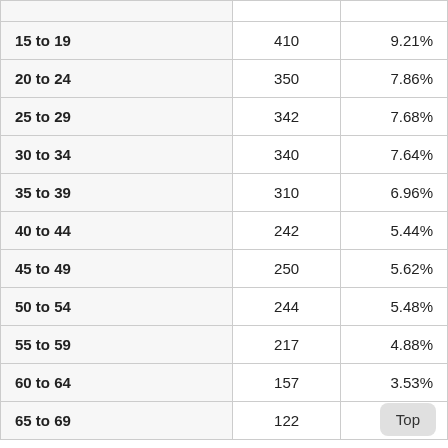| Age Range | Count | Percentage |
| --- | --- | --- |
| 15 to 19 | 410 | 9.21% |
| 20 to 24 | 350 | 7.86% |
| 25 to 29 | 342 | 7.68% |
| 30 to 34 | 340 | 7.64% |
| 35 to 39 | 310 | 6.96% |
| 40 to 44 | 242 | 5.44% |
| 45 to 49 | 250 | 5.62% |
| 50 to 54 | 244 | 5.48% |
| 55 to 59 | 217 | 4.88% |
| 60 to 64 | 157 | 3.53% |
| 65 to 69 | 122 | 2.74% |